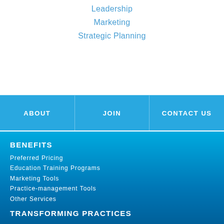Leadership
Marketing
Strategic Planning
ABOUT
JOIN
CONTACT US
BENEFITS
Preferred Pricing
Education Training Programs
Marketing Tools
Practice-management Tools
Other Services
TRANSFORMING PRACTICES